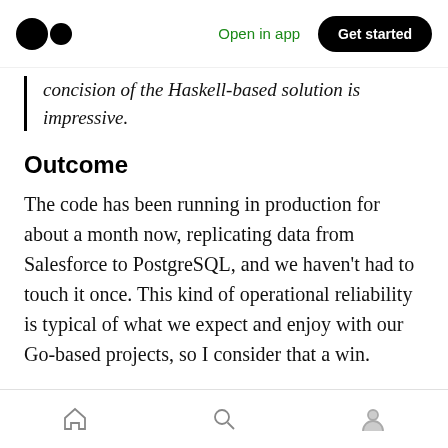Open in app | Get started
concision of the Haskell-based solution is impressive.
Outcome
The code has been running in production for about a month now, replicating data from Salesforce to PostgreSQL, and we haven't had to touch it once. This kind of operational reliability is typical of what we expect and enjoy with our Go-based projects, so I consider that a win.
I did not keep a journal of my time spent on the
Home | Search | Profile